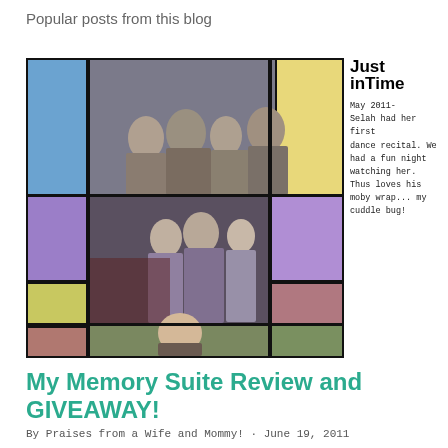Popular posts from this blog
[Figure (photo): A collage-style photo montage with colored rectangles (blue, pink, purple, yellow, mauve/rose, olive green) arranged in a Mondrian-style grid, interspersed with three family photos: a group of people posing indoors, a couple with children at an event, and a young girl smiling outdoors. On the right side a 'Just inTime' logo (bold black serif title) and handwritten-style text reading: 'May 2011- Selah had her first dance recital. We had a fun night watching her. Thus loves his moby wrap... my cuddle bug!']
My Memory Suite Review and GIVEAWAY!
By Praises from a Wife and Mommy! · June 19, 2011